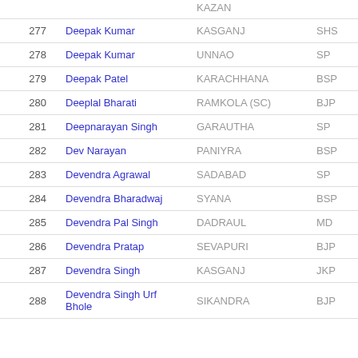| # | Name | Constituency | Party |
| --- | --- | --- | --- |
| 277 | Deepak Kumar | KASGANJ | SHS |
| 278 | Deepak Kumar | UNNAO | SP |
| 279 | Deepak Patel | KARACHHANA | BSP |
| 280 | Deeplal Bharati | RAMKOLA (SC) | BJP |
| 281 | Deepnarayan Singh | GARAUTHA | SP |
| 282 | Dev Narayan | PANIYRA | BSP |
| 283 | Devendra Agrawal | SADABAD | SP |
| 284 | Devendra Bharadwaj | SYANA | BSP |
| 285 | Devendra Pal Singh | DADRAUL | MD |
| 286 | Devendra Pratap | SEVAPURI | BJP |
| 287 | Devendra Singh | KASGANJ | JKP |
| 288 | Devendra Singh Urf Bhole | SIKANDRA | BJP |